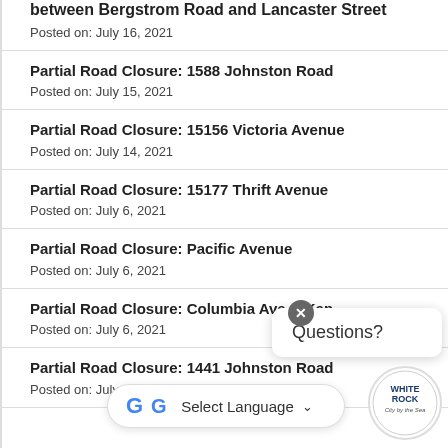between Bergstrom Road and Lancaster Street
Posted on: July 16, 2021
Partial Road Closure: 1588 Johnston Road
Posted on: July 15, 2021
Partial Road Closure: 15156 Victoria Avenue
Posted on: July 14, 2021
Partial Road Closure: 15177 Thrift Avenue
Posted on: July 6, 2021
Partial Road Closure: Pacific Avenue
Posted on: July 6, 2021
Partial Road Closure: Columbia Ave & Ke...
Posted on: July 6, 2021
Partial Road Closure: 1441 Johnston Road
Posted on: July...